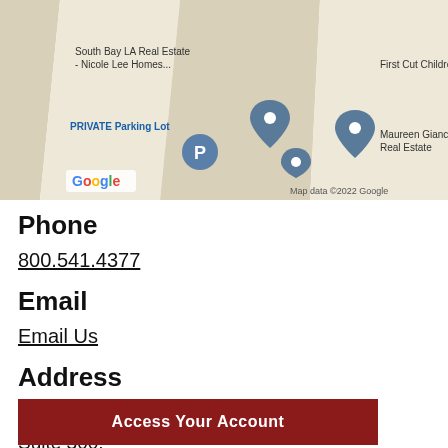[Figure (map): Google Maps screenshot showing South Bay LA Real Estate - Nicole Lee Homes, First Cut Children's Salon, PRIVATE Parking Lot, Maureen Giancanelli Real Estate. Map data ©2022 Google.]
Phone
800.541.4377
Email
Email Us
Address
500 Silver Spur Road,
Suite 300,
Rolling Hills Estates, CA  90275
Access Your Account